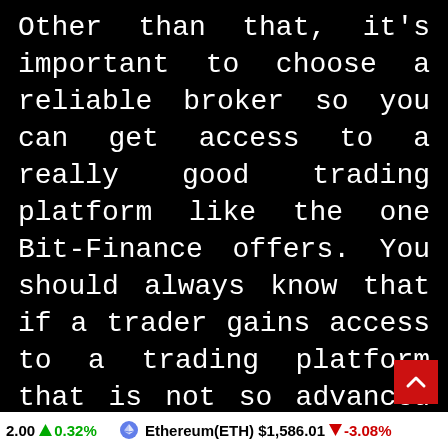Other than that, it's important to choose a reliable broker so you can get access to a really good trading platform like the one Bit-Finance offers. You should always know that if a trader gains access to a trading platform that is not so advanced or equipped, then there is no point in working with that broker either. This is why Bit-Finance is a great broker because the trading platform it provides to the customers is j amazing. This trading platform is not
2.00 ↑ 0.32% Ethereum(ETH) $1,586.01 ↓ -3.08%